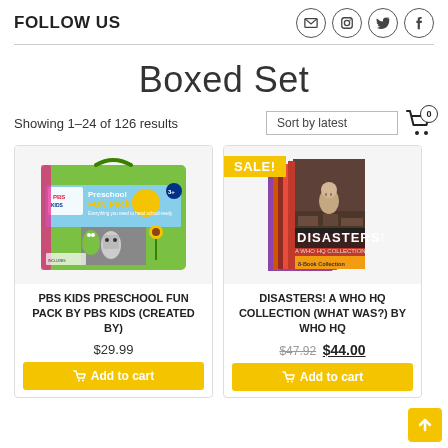FOLLOW US
Boxed Set
Showing 1–24 of 126 results
Sort by latest
[Figure (illustration): PBS Kids Preschool Fun Pack box product image]
PBS KIDS PRESCHOOL FUN PACK BY PBS KIDS (CREATED BY)
$29.99
Add to cart
[Figure (photo): Disasters! A Who HQ Collection book set product image with SALE badge]
DISASTERS! A WHO HQ COLLECTION (WHAT WAS?) BY WHO HQ
$47.92 $44.00
Add to cart